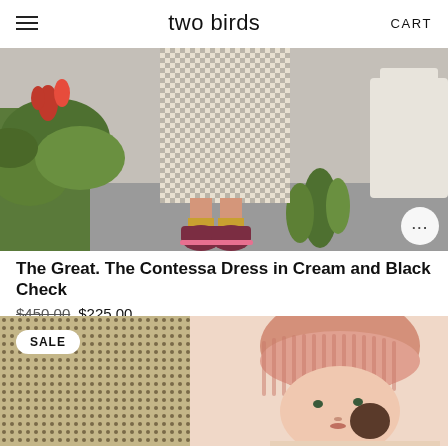two birds | CART
[Figure (photo): Fashion photo showing lower half of a person wearing a cream and black check dress with burgundy high-top sneakers and mustard socks, standing near tropical plants on a grey floor. A circular button with three dots appears in the lower right corner.]
The Great. The Contessa Dress in Cream and Black Check
$450.00 $225.00
[Figure (photo): Photo of a young woman wearing a pink ribbed beanie hat and a knitted top, with a woven grid fabric visible on the left side. A SALE badge is overlaid in the upper left corner.]